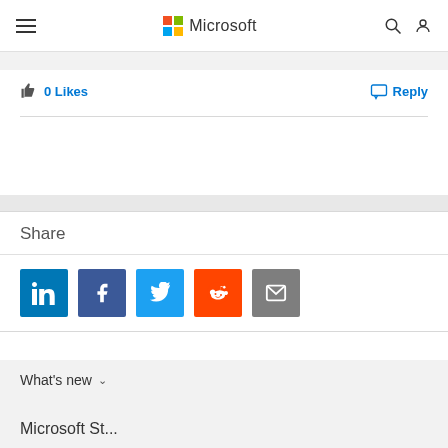Microsoft
0 Likes
Reply
Share
[Figure (infographic): Social share buttons: LinkedIn, Facebook, Twitter, Reddit, Email]
What's new
Microsoft St...